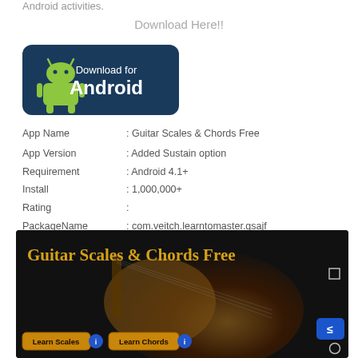Android activities.
Download Here!!
[Figure (logo): Download for Android badge with green Android robot logo on dark blue background]
| App Name | : Guitar Scales & Chords Free |
| App Version | : Added Sustain option |
| Requirement | : Android 4.1+ |
| Install | : 1,000,000+ |
| Rating | : |
| PackageName | : com.veitch.learntomaster.gsajf |
| Category | : Music & Audio |
[Figure (screenshot): Screenshot of Guitar Scales & Chords Free app showing golden title text, guitar image, Learn Scales and Learn Chords buttons with info icons, and navigation buttons]